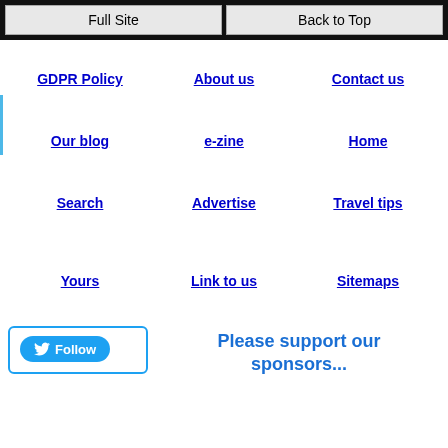Full Site | Back to Top
GDPR Policy
About us
Contact us
Our blog
e-zine
Home
Search
Advertise
Travel tips
Yours
Link to us
Sitemaps
Please support our sponsors...